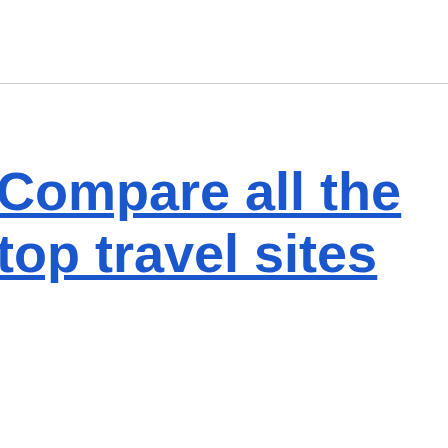Compare all the top travel sites